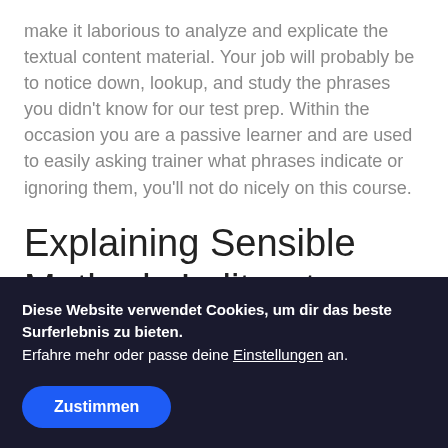make it laborious to analyze and explicate the textual content material. Your job will probably be to notice down, lookup, and study the phrases you didn't know for our test prep. Within the occasion you are a passive learner and are used to easily asking trainer what phrases indicate or ignoring them, you'll not do nicely on this course.
Explaining Sensible Methods In literature essay
Diese Website verwendet Cookies, um dir das beste Surferlebnis zu bieten.
Erfahre mehr oder passe deine Einstellungen an.
Zustimmen